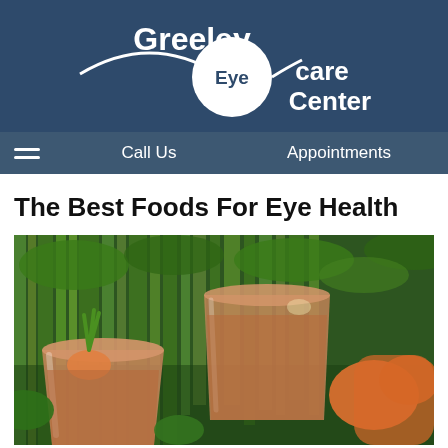[Figure (logo): Greeley Eye Care Center logo with white text on dark blue background, featuring an eye graphic with curved lines around a circle containing 'Eye' text, alongside 'care Center' text]
Call Us    Appointments
The Best Foods For Eye Health
[Figure (photo): Close-up photograph of glasses filled with carrot juice, with fresh carrots and green leafy vegetables (celery, parsley) in the background]